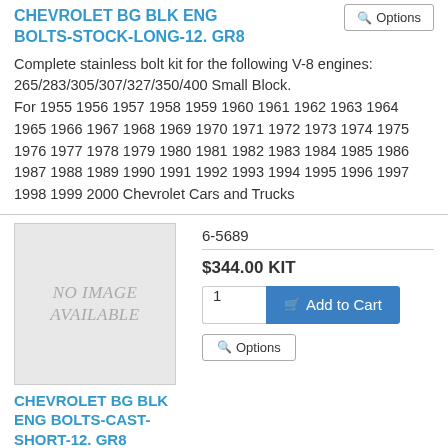CHEVROLET BG BLK ENG BOLTS-STOCK-LONG-12. GR8
Complete stainless bolt kit for the following V-8 engines: 265/283/305/307/327/350/400 Small Block.
For 1955 1956 1957 1958 1959 1960 1961 1962 1963 1964 1965 1966 1967 1968 1969 1970 1971 1972 1973 1974 1975 1976 1977 1978 1979 1980 1981 1982 1983 1984 1985 1986 1987 1988 1989 1990 1991 1992 1993 1994 1995 1996 1997 1998 1999 2000 Chevrolet Cars and Trucks
[Figure (photo): No Image Available placeholder box]
CHEVROLET BG BLK ENG BOLTS-CAST-SHORT-12. GR8
6-5689
$344.00 KIT
Complete stainless bolt kit for the following V-8 engines: 265/283/305/307/327/350/400 Small Block.
For 1955 1956 1957 1958 1959 1960 1961 1962 1963 1964 1965 1966 1967 1968 1969 1970 1971 1972 1973 1974 1975